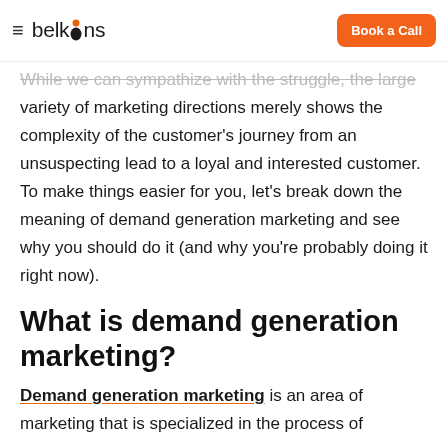belkins | Book a Call
While we can sympathize with the struggle, the large variety of marketing directions merely shows the complexity of the customer's journey from an unsuspecting lead to a loyal and interested customer. To make things easier for you, let's break down the meaning of demand generation marketing and see why you should do it (and why you're probably doing it right now).
What is demand generation marketing?
Demand generation marketing is an area of marketing that is specialized in the process of